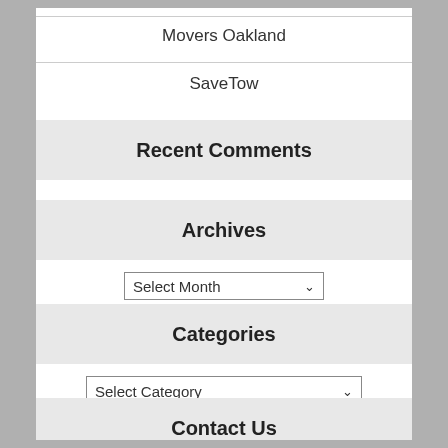Movers Oakland
SaveTow
Recent Comments
Archives
Select Month
Categories
Select Category
Contact Us